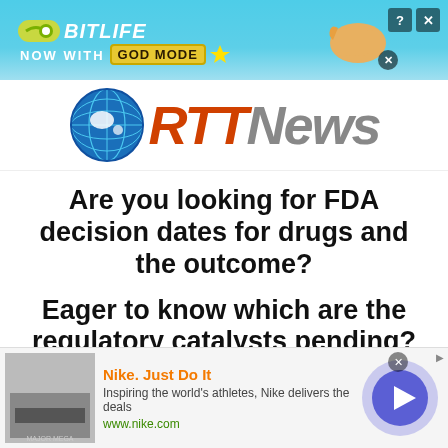[Figure (screenshot): BitLife advertisement banner with cyan background, BitLife logo, 'NOW WITH GOD MODE' text, cartoon hand pointing, close and question mark buttons]
[Figure (logo): RTI News logo with globe icon, red 'RTI' text and grey 'News' text in italic bold font]
Are you looking for FDA decision dates for drugs and the outcome?
Eager to know which are the regulatory catalysts pending?
[Figure (screenshot): Nike advertisement banner with product image, 'Nike. Just Do It' title, description text, www.nike.com URL, blue circle arrow button, and close button]